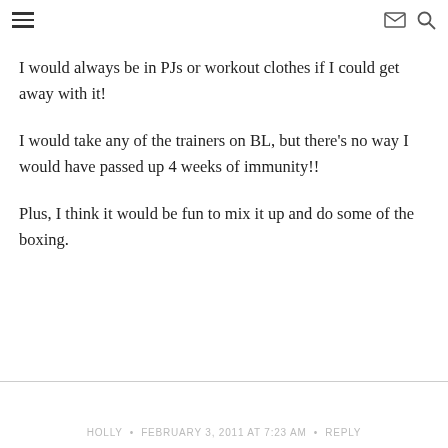≡  ✉  🔍
I would always be in PJs or workout clothes if I could get away with it!
I would take any of the trainers on BL, but there's no way I would have passed up 4 weeks of immunity!!
Plus, I think it would be fun to mix it up and do some of the boxing.
HOLLY • FEBRUARY 3, 2011 AT 7:23 AM • REPLY